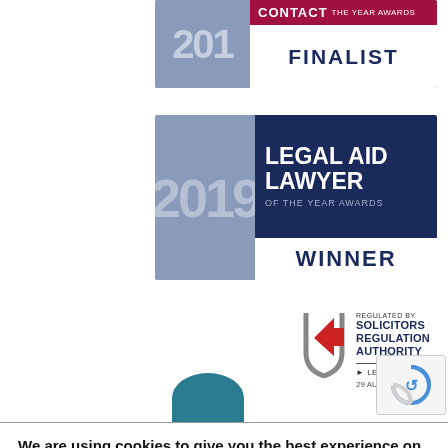[Figure (logo): Contact Lawyer of the Year Awards 2019 Finalist badge — dark blue badge with year 2019, crimson Contact banner, white FINALIST text]
[Figure (logo): Legal Aid Lawyer of the Year Awards 2019 Winner badge — dark blue badge with year 2019, navy LEGAL AID LAWYER OF THE YEAR AWARDS header, white WINNER text]
[Figure (logo): Solicitors Regulation Authority regulated badge with arrow logo, LEARN MORE link, dated 29 AUG 2022]
We are using cookies to give you the best experience on our website.
You can find out more about which cookies we are using or switch them off in settings.
Accept